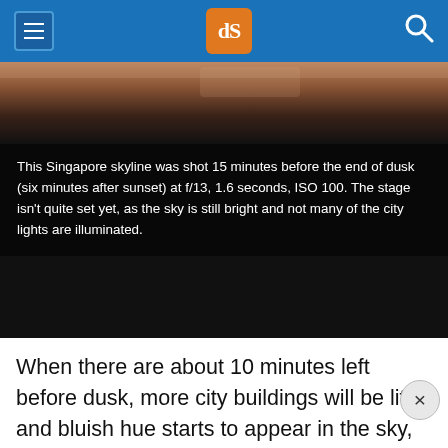dPS navigation header with hamburger menu, dPS logo, and search icon
[Figure (photo): Singapore skyline photo strip — partially visible, showing dark sky with warm tones at top]
This Singapore skyline was shot 15 minutes before the end of dusk (six minutes after sunset) at f/13, 1.6 seconds, ISO 100. The stage isn't quite set yet, as the sky is still bright and not many of the city lights are illuminated.
When there are about 10 minutes left before dusk, more city buildings will be lit, and bluish hue starts to appear in the sky, getting deeper and deeper with every single passing minute. It's these last 10 minutes of dusk that are